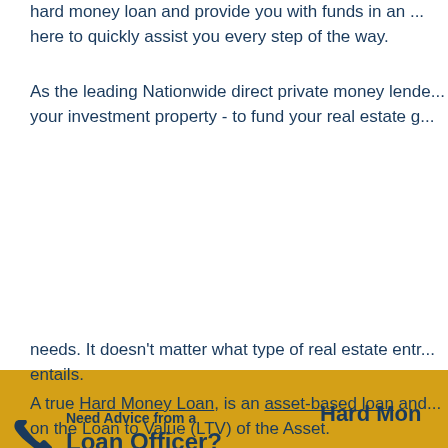hard money loan and provide you with funds in an ... here to quickly assist you every step of the way.
As the leading Nationwide direct private money lende... your investment property - to fund your real estate g...
[Figure (infographic): Yellow banner advertisement with phone icon. Text: 'Need Advice from a Loan Officer? Call Now! (800) 962-6613'. Right side has dark navy text 'Hard Mon...' and an orange section with white text 'NOW'.]
needs. It doesn't matter what type of real estate entr... entails.
A true Hard Money Loan, is an asset-based loan and... on the Loan to Value (LTV) of the Asset.
A hard money loan is among the most popular loan ...